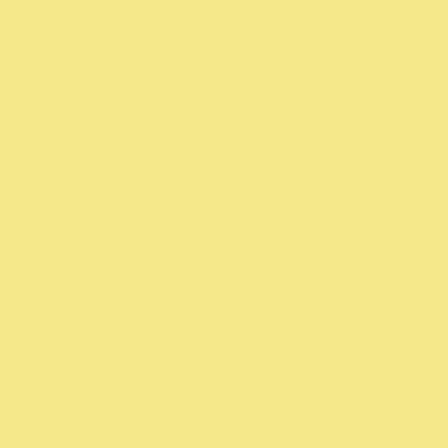out right.
Posted by: Eduard de Kam | Monday, 22 December 20...
When film users deployed filters or g... effect they wanted, they actually had... either screw on their lens or cover th...
I wonder it WhiBal or some other lig... set of virtual filters -- just a set of RG... after using the Whisal card to get a n... your photos would be neutral, but th... you could get sunrise/shadow, sunris... midday/shadow...etc., with the condi... in temps. It does seem to me thatthe... neutral position all the time... I coul... virtual filters -- maybe even , a sort o... degrees kelvin, that would get you v... light, starting from a neutral position...
Say, could this be a big moneymaks...